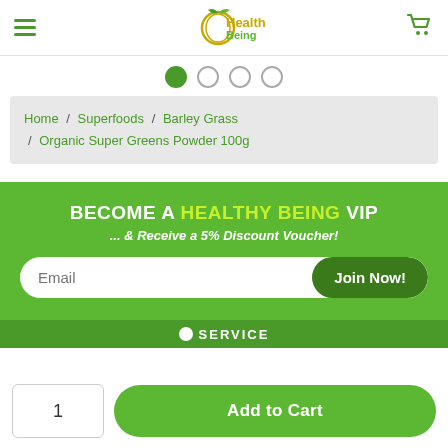[Figure (logo): Healthy Being logo with apple icon, gold and green text]
[Figure (infographic): Carousel pagination dots, first dot filled green]
Home / Superfoods / Barley Grass / Organic Super Greens Powder 100g
BECOME A HEALTHY BEING VIP
... & Receive a 5% Discount Voucher!
[Figure (screenshot): Email input field with Join Now button]
SERVICE
1
Add to Cart